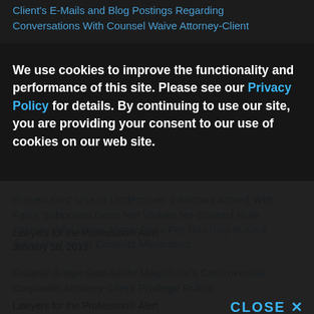Client's E-Mails and Blog Postings Regarding Conversations With Counsel Waive Attorney-Client
[Figure (screenshot): Cookie consent banner overlay with dark background reading: We use cookies to improve the functionality and performance of this site. Please see our Privacy Policy for details. By continuing to use our site, you are providing your consent to our use of cookies on our web site. CLOSE X]
Attorney Who Refers Matter For a Fee Has Duty to Act if Receiving Lawyer Commits Misconduct
Lawyers for the Profession® Alert
January 20, 2011
Prosecutors' Use of Undercover Informant Armed With False Subpoena Does Not Violate No-Contact Rule
Lawyers for the Profession® Alert
January 18, 2011
Federal Judge Sets Aside Magistrate's Controversial Corporate Attorney-Client Privilege Ruling
Lawyers for the Profession® Alert
January 11, 2011
Colorado Bar Differentiates Online Directories From